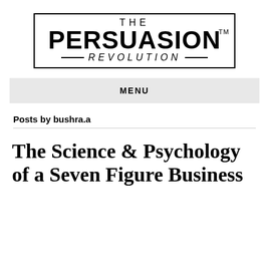[Figure (logo): The Persuasion Revolution logo — text in a rectangular border with lines flanking 'REVOLUTION']
MENU
Posts by bushra.a
The Science & Psychology of a Seven Figure Business